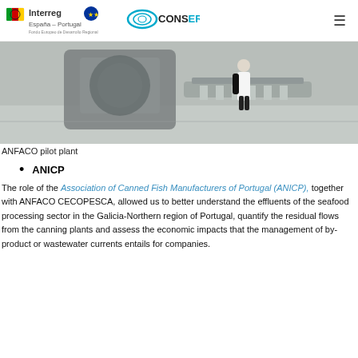Interreg España – Portugal | CONSERVAL
[Figure (photo): Industrial fish processing facility interior showing a worker in a white lab coat near large stainless steel machinery on a grey floor.]
ANFACO pilot plant
ANICP
The role of the Association of Canned Fish Manufacturers of Portugal (ANICP), together with ANFACO CECOPESCA, allowed us to better understand the effluents of the seafood processing sector in the Galicia-Northern region of Portugal, quantify the residual flows from the canning plants and assess the economic impacts that the management of by-product or wastewater currents entails for companies.